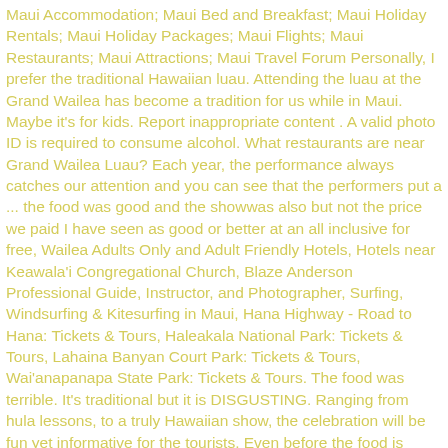Maui Accommodation; Maui Bed and Breakfast; Maui Holiday Rentals; Maui Holiday Packages; Maui Flights; Maui Restaurants; Maui Attractions; Maui Travel Forum Personally, I prefer the traditional Hawaiian luau. Attending the luau at the Grand Wailea has become a tradition for us while in Maui. Maybe it's for kids. Report inappropriate content . A valid photo ID is required to consume alcohol. What restaurants are near Grand Wailea Luau? Each year, the performance always catches our attention and you can see that the performers put a ... the food was good and the showwas also but not the price we paid I have seen as good or better at an all inclusive for free, Wailea Adults Only and Adult Friendly Hotels, Hotels near Keawala'i Congregational Church, Blaze Anderson Professional Guide, Instructor, and Photographer, Surfing, Windsurfing & Kitesurfing in Maui, Hana Highway - Road to Hana: Tickets & Tours, Haleakala National Park: Tickets & Tours, Lahaina Banyan Court Park: Tickets & Tours, Wai'anapanapa State Park: Tickets & Tours. The food was terrible. It's traditional but it is DISGUSTING. Ranging from hula lessons, to a truly Hawaiian show, the celebration will be fun yet informative for the tourists. Even before the food is brought out. You'll be welcomed to your own private table overlooking Wailea Beach, where you'll enjoy luxury family-style service and a three-course menu featuring traditional Luau cuisine. mauinuts. Grand Wailea Luau. Allows yourself to travel back in time to ancient Polynesia through a unique choreographed experience at the Grand Wailea resort. The...